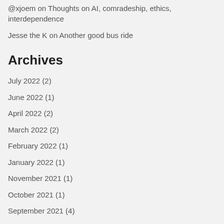@xjoem on Thoughts on AI, comradeship, ethics, interdependence
Jesse the K on Another good bus ride
Archives
July 2022 (2)
June 2022 (1)
April 2022 (2)
March 2022 (2)
February 2022 (1)
January 2022 (1)
November 2021 (1)
October 2021 (1)
September 2021 (4)
July 2021 (1)